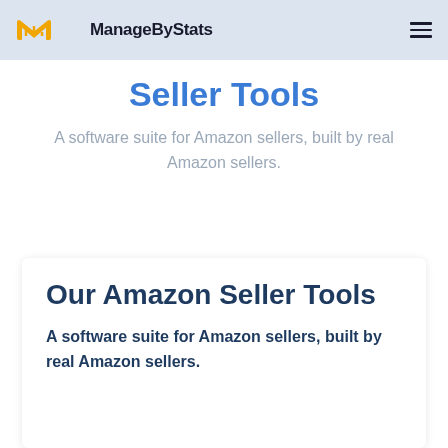ManageByStats
Seller Tools
A software suite for Amazon sellers, built by real Amazon sellers.
Our Amazon Seller Tools
A software suite for Amazon sellers, built by real Amazon sellers.